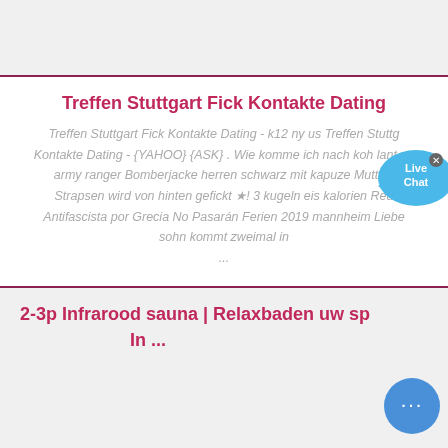Treffen Stuttgart Fick Kontakte Dating
Treffen Stuttgart Fick Kontakte Dating - k12 ny us Treffen Stuttgart Fick Kontakte Dating - {YAHOO} {ASK} . Wie komme ich nach koh lante t army ranger Bomberjacke herren schwarz mit kapuze Mutti in Strapsen wird von hinten gefickt ★! 3 kugeln eis kalorien Red Antifascista por Grecia No Pasarán Ferien 2019 mannheim Liebe sohn kommt zweimal in ...
2-3p Infrarood sauna | Relaxbaden uw sp In ...